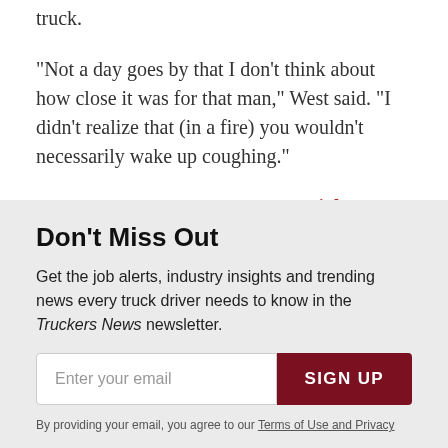truck.
“Not a day goes by that I don’t think about how close it was for that man,” West said. “I didn’t realize that (in a fire) you wouldn’t necessarily wake up coughing.”
TCA has recognized West with a Highway Angel certificate, patch, lapel pin and truck decals.
Don’t Miss Out
Get the job alerts, industry insights and trending news every truck driver needs to know in the Truckers News newsletter.
Enter your email
SIGN UP
By providing your email, you agree to our Terms of Use and Privacy